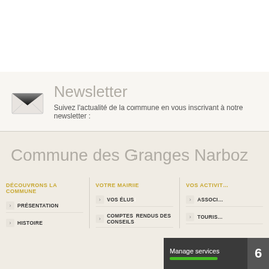[Figure (illustration): Newsletter section with envelope icon]
Newsletter
Suivez l'actualité de la commune en vous inscrivant à notre newsletter :
Commune des Granges Narboz
DÉCOUVRONS LA COMMUNE
PRÉSENTATION
HISTOIRE
PLAN DE LA COMMUNE
VOTRE MAIRIE
VOS ÉLUS
COMPTES RENDUS DES CONSEILS
DÉMARCHES ADMINISTRATIVES
URBANISME
VOS ACTIVIT…
ASSOCI…
TOURIS…
LISTE D…
Manage services